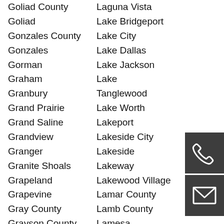Goliad County
Laguna Vista
Goliad
Lake Bridgeport
Gonzales County
Lake City
Gonzales
Lake Dallas
Gorman
Lake Jackson
Graham
Lake
Granbury
Tanglewood
Grand Prairie
Lake Worth
Grand Saline
Lakeport
Grandview
Lakeside City
Granger
Lakeside
Granite Shoals
Lakeway
Grapeland
Lakewood Village
Grapevine
Lamar County
Gray County
Lamb County
Grayson County
Lamesa
Greenville
Lampasas
Gregg County
County
Gregory
Lampasas
[Figure (illustration): Phone icon — white telephone handset on dark gray background]
[Figure (illustration): Email icon — white envelope outline on dark gray background]